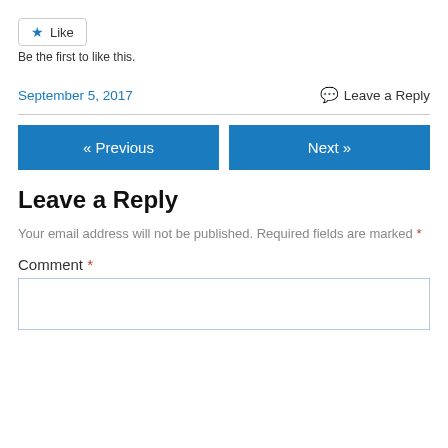[Figure (other): Like button with star icon]
Be the first to like this.
September 5, 2017    Leave a Reply
[Figure (other): Navigation buttons: « Previous and Next »]
Leave a Reply
Your email address will not be published. Required fields are marked *
Comment *
[Figure (other): Comment text area input box]